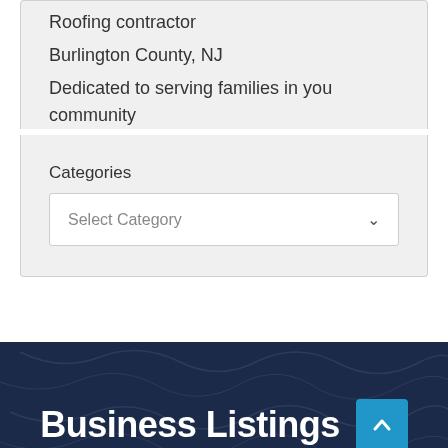Roofing contractor
Burlington County, NJ
Dedicated to serving families in you community
Categories
Select Category
Business Listings